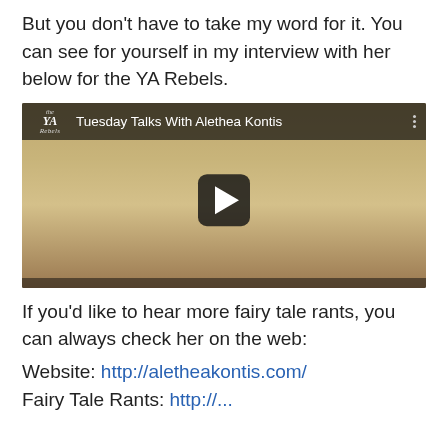But you don't have to take my word for it. You can see for yourself in my interview with her below for the YA Rebels.
[Figure (screenshot): Embedded YouTube video thumbnail showing two women at a table with books, with the YA Rebels logo and title 'Tuesday Talks With Alethea Kontis' displayed. A play button is visible in the center.]
If you'd like to hear more fairy tale rants, you can always check her on the web:
Website: http://aletheakontis.com/
Fairy Tale Rants: http://...